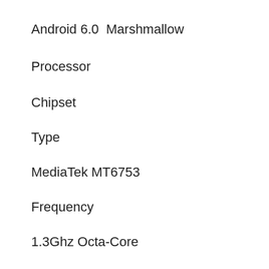Android 6.0  Marshmallow
Processor
Chipset
Type
MediaTek MT6753
Frequency
1.3Ghz Octa-Core
GPU